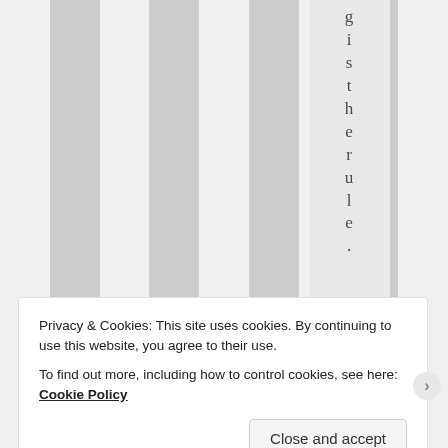[Figure (other): Striped gray and white vertical columns background with vertical text reading 'gistherule.' and a blue star 'Like' button]
Privacy & Cookies: This site uses cookies. By continuing to use this website, you agree to their use.
To find out more, including how to control cookies, see here: Cookie Policy
Close and accept